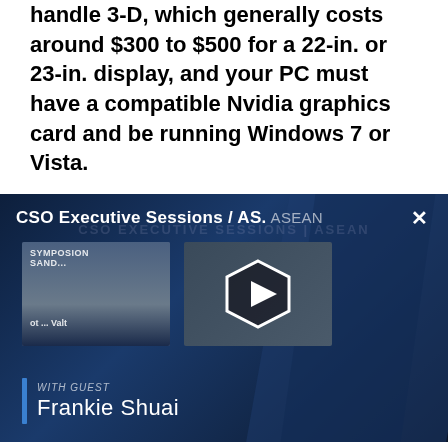handle 3-D, which generally costs around $300 to $500 for a 22-in. or 23-in. display, and your PC must have a compatible Nvidia graphics card and be running Windows 7 or Vista.
[Figure (screenshot): CSO Executive Sessions / AS.ASEAN video panel with two thumbnails, a play button overlay, guest name Frankie Shuai, and a close (X) button]
Content Continues Below